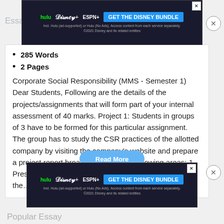[Figure (screenshot): Top advertisement banner: Hulu Disney+ ESPN+ GET THE DISNEY BUNDLE. Incl. Hulu (ad-supported) or Hulu (No Ads). Access content from each service separately. ©2021 Disney and its related entities]
285 Words
2 Pages
Corporate Social Responsibility (MMS - Semester 1) Dear Students, Following are the details of the projects/assignments that will form part of your internal assessment of 40 marks. Project 1: Students in groups of 3 have to be formed for this particular assignment. The group has to study the CSR practices of the allotted company by visiting the company's website and prepare a project report broadly covering the following areas: 1. Presence of the CSR tab in the main menu. 2. Does the…
[Figure (screenshot): Bottom advertisement banner: Hulu Disney+ ESPN+ GET THE DISNEY BUNDLE. Incl. Hulu (ad-supported) or Hulu (No Ads). Access content from each service separately. ©2021 Disney and its related entities]